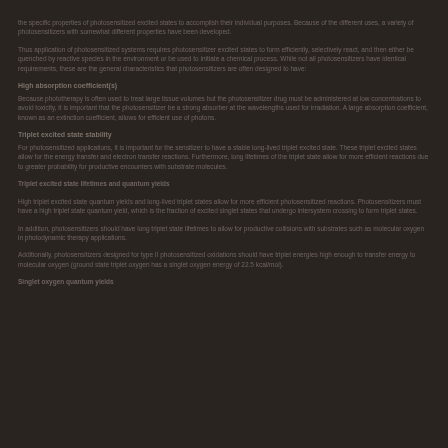the specific properties of photosensitized excited states to accomplish their individual purposes. Because of the different uses, a variety of photosensitizers with somewhat different properties have been developed.
Thus application of photosensitized systems requires photosensitizer excited states to form efficiently, selectively react, and then either be quenched by reactive species in the environment or be used to initiate a chemical process. While not all photosensitizers have identical requirements, these are the general characteristics that photosensitizers are often designed to have:
High absorption coefficient(s)
Because phototherapy is often used to treat large tissue volumes but the photosensitizer drug must be administered at low concentrations to avoid toxicity, it is important that the photosensitizer be a strong absorber at the wavelengths used for irradiation. A large absorption coefficient, known as an extinction coefficient, allows for efficient use of photons.
Triplet excited state stability
For photosensitized applications, it is important for the sensitizer to have a stable long-lived triplet excited state. These triplet excited states allow for the energy transfer and electron transfer reactions. Furthermore, long lifetimes of the triplet state allow for more efficient reactions due to greater probability for productive encounters with substrate molecules.
Triplet excited state lifetimes and quantum yields
High triplet excited state quantum yields and long-lived triplet states allow for more efficient photosensitized reactions. Photosensitizers must have a high triplet state quantum yield, which is the fraction of excited singlet states that undergo intersystem crossing to form triplet states.
In addition, photosensitizers should have long triplet state lifetimes to allow for productive collisions with substrates such as molecular oxygen in photodynamic therapy applications.
Additionally, photosensitizers designed for type II photosensitized oxidations should have triplet energies high enough to transfer energy to molecular oxygen (ground state triplet oxygen has a singlet oxygen energy of 22.5 kcal/mol).
Singlet oxygen quantum yields